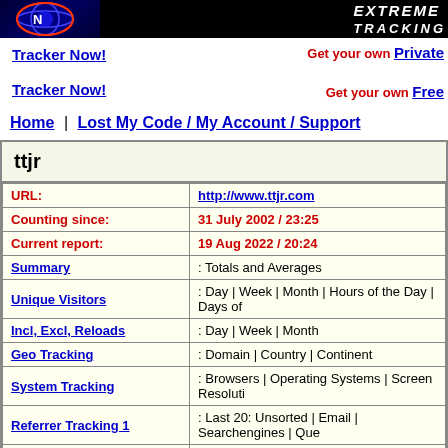[Figure (other): Header bar with globe logo and Extreme Tracking branding text on black background]
Tracker Now! (link, left) | Get your own Private Tracker Now! | Get your own Free Tracker Now! (right promo)
Home | Lost My Code / My Account / Support
ttjr
| Field | Value |
| --- | --- |
| URL: | http://www.ttjr.com |
| Counting since: | 31 July 2002  /  23:25 |
| Current report: | 19 Aug 2022  /  20:24 |
| Summary | : Totals and Averages |
| Unique Visitors | : Day | Week | Month | Hours of the Day | Days of |
| Incl, Excl, Reloads | : Day | Week | Month |
| Geo Tracking | : Domain | Country | Continent |
| System Tracking | : Browsers | Operating Systems | Screen Resoluti |
| Referrer Tracking 1 | : Last 20: Unsorted | Email | Searchengines | Que |
| Referrer Tracking 2 | : Totals: Sources | Searchengines | All Keywords | |